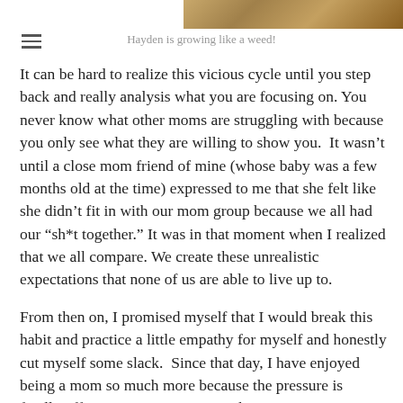[Figure (photo): Partial view of a photo at the top of the page, showing a brown/earthy close-up image (appears to be a child or nature photo).]
Hayden is growing like a weed!
It can be hard to realize this vicious cycle until you step back and really analysis what you are focusing on. You never know what other moms are struggling with because you only see what they are willing to show you.  It wasn't until a close mom friend of mine (whose baby was a few months old at the time) expressed to me that she felt like she didn't fit in with our mom group because we all had our “sh*t together.” It was in that moment when I realized that we all compare. We create these unrealistic expectations that none of us are able to live up to.
From then on, I promised myself that I would break this habit and practice a little empathy for myself and honestly cut myself some slack.  Since that day, I have enjoyed being a mom so much more because the pressure is finally off.  Don’t get me wrong, I have to